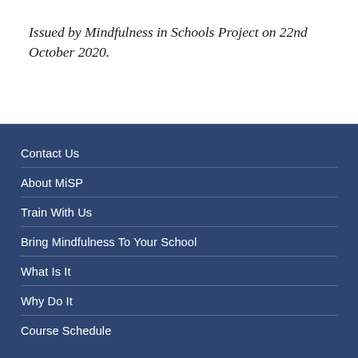Issued by Mindfulness in Schools Project on 22nd October 2020.
Contact Us
About MiSP
Train With Us
Bring Mindfulness To Your School
What Is It
Why Do It
Course Schedule